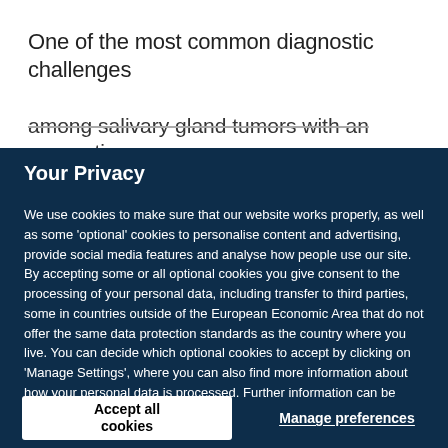One of the most common diagnostic challenges
among salivary gland tumors with an oncocytic
Your Privacy
We use cookies to make sure that our website works properly, as well as some 'optional' cookies to personalise content and advertising, provide social media features and analyse how people use our site. By accepting some or all optional cookies you give consent to the processing of your personal data, including transfer to third parties, some in countries outside of the European Economic Area that do not offer the same data protection standards as the country where you live. You can decide which optional cookies to accept by clicking on 'Manage Settings', where you can also find more information about how your personal data is processed. Further information can be found in our privacy policy.
Accept all cookies
Manage preferences